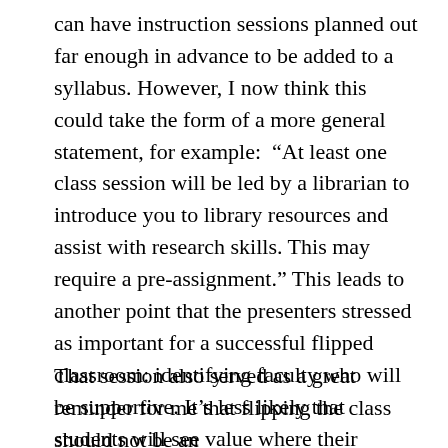can have instruction sessions planned out far enough in advance to be added to a syllabus. However, I now think this could take the form of a more general statement, for example: “At least one class session will be led by a librarian to introduce you to library resources and assist with research skills. This may require a pre-assignment.” This leads to another point that the presenters stressed as important for a successful flipped classroom: identifying faculty who will be supportive. It’s less likely that students will see value where their instructor doesn’t.
That session also served as a great reminder for me that flipping the class should not be an